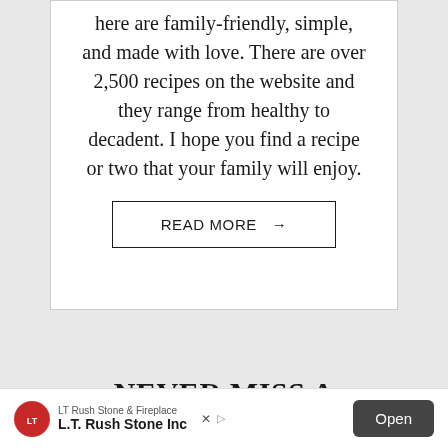here are family-friendly, simple, and made with love. There are over 2,500 recipes on the website and they range from healthy to decadent. I hope you find a recipe or two that your family will enjoy.
READ MORE →
NEVER MISS A
[Figure (other): Advertisement banner for LT Rush Stone & Fireplace with Open button]